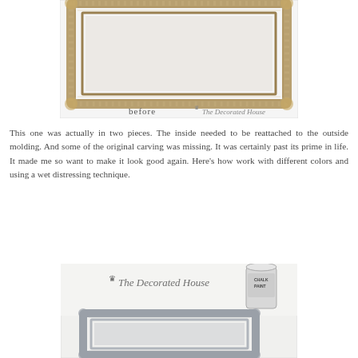[Figure (photo): Photo of an ornate gold picture frame labeled 'before' with 'The Decorated House' watermark. The frame has decorative carved molding and is shown against a white background.]
This one was actually in two pieces. The inside needed to be reattached to the outside molding. And some of the original carving was missing. It was certainly past its prime in life. It made me so want to make it look good again. Here's how work with different colors and using a wet distressing technique.
[Figure (photo): Photo showing 'The Decorated House' branding on a white cloth background, with a small chalk paint can and a gray/white painted ornate frame below, demonstrating the chalk paint distressing technique in progress.]